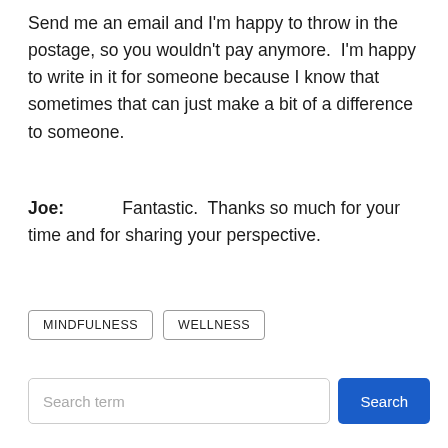Send me an email and I'm happy to throw in the postage, so you wouldn't pay anymore.  I'm happy to write in it for someone because I know that sometimes that can just make a bit of a difference to someone.
Joe:            Fantastic.  Thanks so much for your time and for sharing your perspective.
MINDFULNESS   WELLNESS
Search term   Search